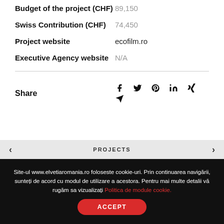| Field | Value |
| --- | --- |
| Budget of the project (CHF) | 89,150 |
| Swiss Contribution (CHF) | 74,450 |
| Project website | ecofilm.ro |
| Executive Agency website | N/A |
Share
PROJECTS
Site-ul www.elvetiaromania.ro foloseste cookie-uri. Prin continuarea navigării, sunteți de acord cu modul de utilizare a acestora. Pentru mai multe detalii vă rugăm sa vizualizați Politica de module cookie.
ACCEPT